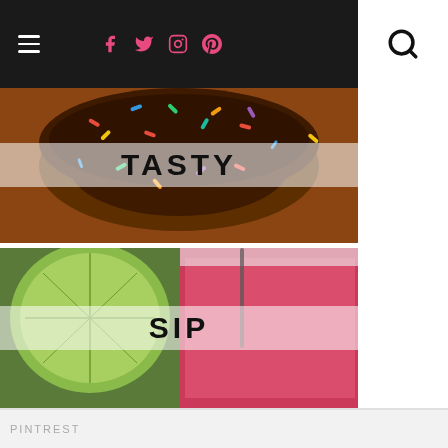Navigation bar with hamburger menu, social icons (Facebook, Twitter, Instagram, Pinterest), and search icon
[Figure (photo): Chocolate sprinkle donut with TASTY label overlay on semi-transparent white band]
[Figure (photo): Pink frozen margarita drink with lime garnish and SIP label overlay on semi-transparent white band]
PINTREST
Whitney Feezor
Laundry in Louboutins